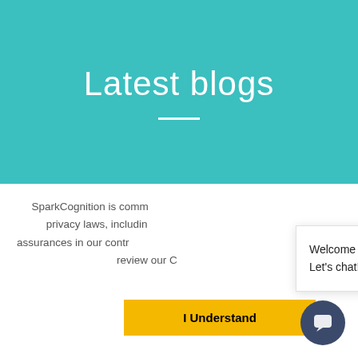Latest blogs
SparkCognition is comm privacy laws, includin assurances in our contr review our C
[Figure (screenshot): Chat popup with SparkCognition lightning bolt logo, welcome message 'Welcome to SparkCognition. Let’s chat!' and close button]
I Understand